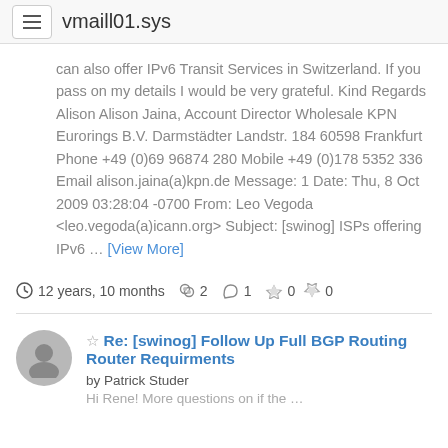vmaill01.sys
can also offer IPv6 Transit Services in Switzerland. If you pass on my details I would be very grateful. Kind Regards Alison Alison Jaina, Account Director Wholesale KPN Eurorings B.V. Darmstädter Landstr. 184 60598 Frankfurt Phone +49 (0)69 96874 280 Mobile +49 (0)178 5352 336 Email alison.jaina(a)kpn.de Message: 1 Date: Thu, 8 Oct 2009 03:28:04 -0700 From: Leo Vegoda <leo.vegoda(a)icann.org> Subject: [swinog] ISPs offering IPv6 … [View More]
12 years, 10 months  2  1  0  0
Re: [swinog] Follow Up Full BGP Routing Router Requirments
by Patrick Studer
Hi Rene! More questions on if the …